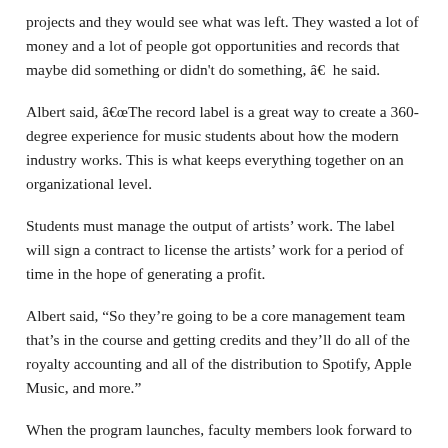projects and they would see what was left. They wasted a lot of money and a lot of people got opportunities and records that maybe did something or didn't do something, â€  he said.
Albert said, â€œThe record label is a great way to create a 360-degree experience for music students about how the modern industry works. This is what keeps everything together on an organizational level.
Students must manage the output of artists' work. The label will sign a contract to license the artists' work for a period of time in the hope of generating a profit.
Albert said, “So they’re going to be a core management team that’s in the course and getting credits and they’ll do all of the royalty accounting and all of the distribution to Spotify, Apple Music, and more.”
When the program launches, faculty members look forward to